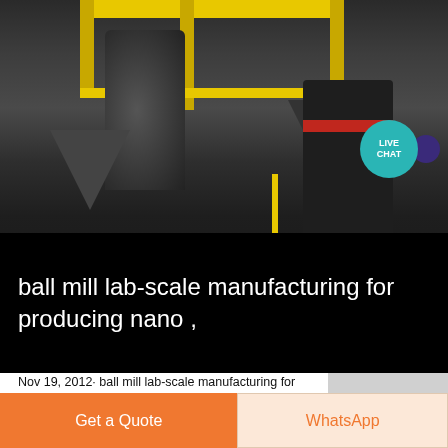[Figure (photo): Industrial ball mill / crusher equipment in a factory setting with yellow structural steel framework and conveyor components. A teal 'LIVE CHAT' speech bubble icon with a purple chat icon overlay appears in the upper right.]
ball mill lab-scale manufacturing for producing nano ,
Nov 19, 2012· ball mill lab-scale manufacturing for producing nano-particles; used grinding meal for sale in south africa; , Apr 02, 2009 , stirred bead mill and stirred ball mill , for ink manufacturing, , FIG 1 shows a stirred ,